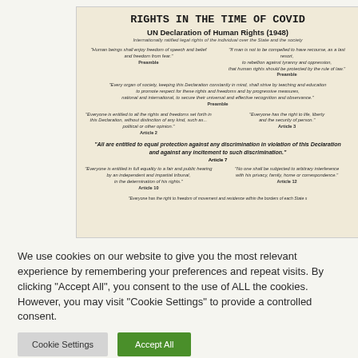[Figure (infographic): Infographic titled 'RIGHTS IN THE TIME OF COVID' featuring quotes from the UN Declaration of Human Rights (1948). Preamble quotes about freedom of speech, belief, freedom from fear, rule of law, and promoting rights through education. Article 2, 3, 7, 10, 12 quotes on equal rights, right to life, equal protection against discrimination, fair hearing, and privacy. Printed on aged parchment-colored background.]
We use cookies on our website to give you the most relevant experience by remembering your preferences and repeat visits. By clicking "Accept All", you consent to the use of ALL the cookies. However, you may visit "Cookie Settings" to provide a controlled consent.